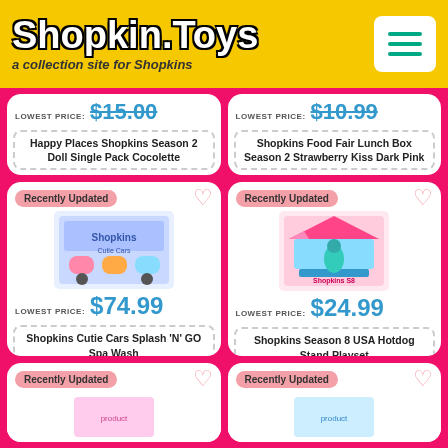Shopkin.Toys — a collection site for Shopkins
LOWEST PRICE: $15.00 — Happy Places Shopkins Season 2 Doll Single Pack Cocolette
LOWEST PRICE: $10.99 — Shopkins Food Fair Lunch Box Season 2 Strawberry Kiss Dark Pink
Recently Updated — LOWEST PRICE: $74.99 — Shopkins Cutie Cars Splash 'N' GO Spa Wash
Recently Updated — LOWEST PRICE: $24.99 — Shopkins Season 8 USA Hotdog Stand Playset
Recently Updated
Recently Updated